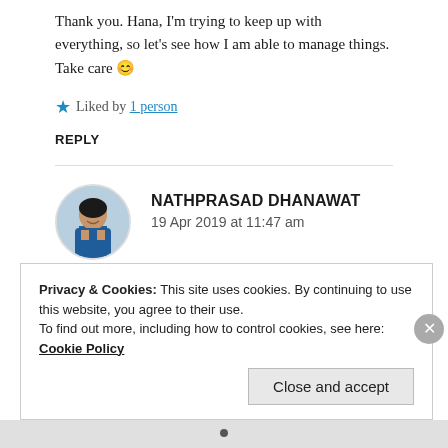Thank you. Hana, I'm trying to keep up with everything, so let's see how I am able to manage things. Take care 😊
★ Liked by 1 person
REPLY
[Figure (photo): Circular avatar photo of Nathprasad Dhanawat, a man in a blue jacket]
NATHPRASAD DHANAWAT
19 Apr 2019 at 11:47 am
Privacy & Cookies: This site uses cookies. By continuing to use this website, you agree to their use.
To find out more, including how to control cookies, see here: Cookie Policy
Close and accept